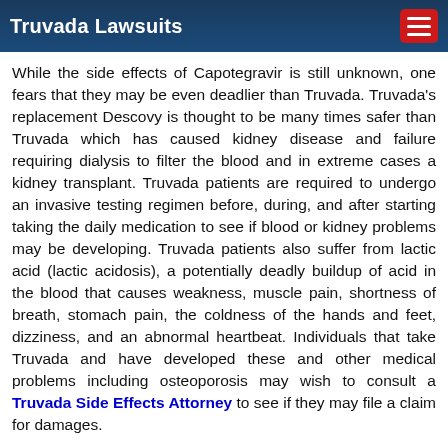Truvada Lawsuits
While the side effects of Capotegravir is still unknown, one fears that they may be even deadlier than Truvada. Truvada's replacement Descovy is thought to be many times safer than Truvada which has caused kidney disease and failure requiring dialysis to filter the blood and in extreme cases a kidney transplant. Truvada patients are required to undergo an invasive testing regimen before, during, and after starting taking the daily medication to see if blood or kidney problems may be developing. Truvada patients also suffer from lactic acid (lactic acidosis), a potentially deadly buildup of acid in the blood that causes weakness, muscle pain, shortness of breath, stomach pain, the coldness of the hands and feet, dizziness, and an abnormal heartbeat. Individuals that take Truvada and have developed these and other medical problems including osteoporosis may wish to consult a Truvada Side Effects Attorney to see if they may file a claim for damages.